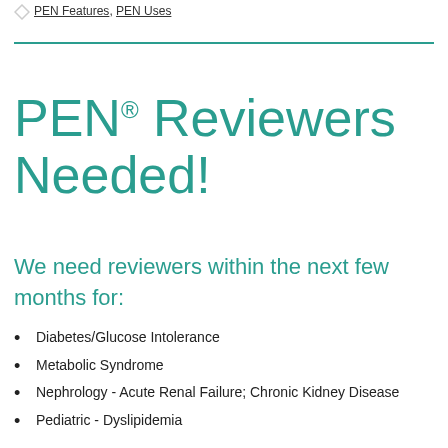PEN Features, PEN Uses
PEN® Reviewers Needed!
We need reviewers within the next few months for:
Diabetes/Glucose Intolerance
Metabolic Syndrome
Nephrology - Acute Renal Failure; Chronic Kidney Disease
Pediatric - Dyslipidemia